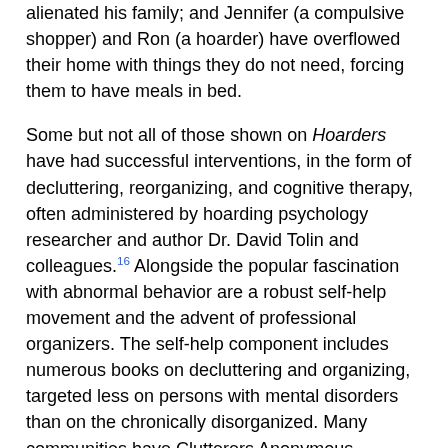alienated his family; and Jennifer (a compulsive shopper) and Ron (a hoarder) have overflowed their home with things they do not need, forcing them to have meals in bed.
Some but not all of those shown on Hoarders have had successful interventions, in the form of decluttering, reorganizing, and cognitive therapy, often administered by hoarding psychology researcher and author Dr. David Tolin and colleagues.16 Alongside the popular fascination with abnormal behavior are a robust self-help movement and the advent of professional organizers. The self-help component includes numerous books on decluttering and organizing, targeted less on persons with mental disorders than on the chronically disorganized. Many communities have Clutterers Anonymous groups,29 and several have Children of Hoarders meetings and websites.30 Certified professional organizers often visit the subjects on Hoarders. They often serve as buffers between the hoarder and the court, which is responding to disgusted neighbors. There is a